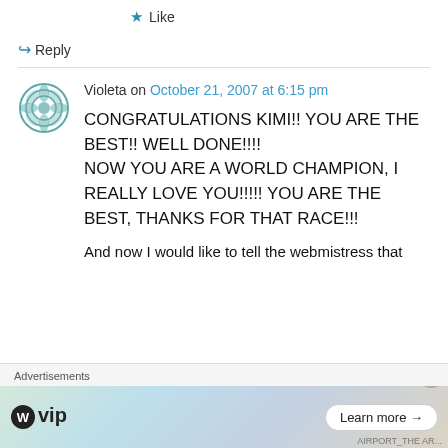★ Like
↳ Reply
Violeta on October 21, 2007 at 6:15 pm
CONGRATULATIONS KIMI!! YOU ARE THE BEST!! WELL DONE!!!!
NOW YOU ARE A WORLD CHAMPION, I REALLY LOVE YOU!!!!! YOU ARE THE BEST, THANKS FOR THAT RACE!!!

And now I would like to tell the webmistress that
Advertisements
[Figure (screenshot): WordPress VIP advertisement banner with colorful background and 'Learn more' button]